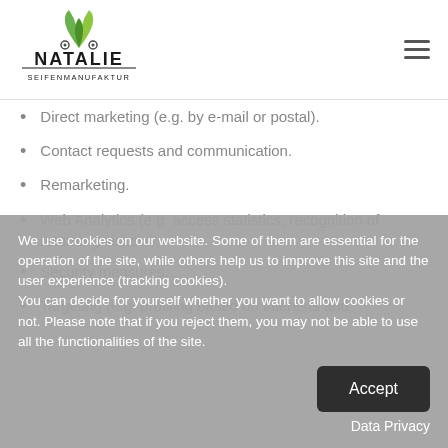[Figure (logo): Natalie Seifenmanufaktur logo with green leaf/plant graphic above the stylized text 'NATALIE SEIFENMANUFAKTUR']
Direct marketing (e.g. by e-mail or postal).
Contact requests and communication.
Remarketing.
Web Analytics (e.g. access statistics, recognition of returning visitors).
Security measures.
Targeting (e.g. profiling based on interests and
We use cookies on our website. Some of them are essential for the operation of the site, while others help us to improve this site and the user experience (tracking cookies). You can decide for yourself whether you want to allow cookies or not. Please note that if you reject them, you may not be able to use all the functionalities of the site.
Accept
Data Privacy